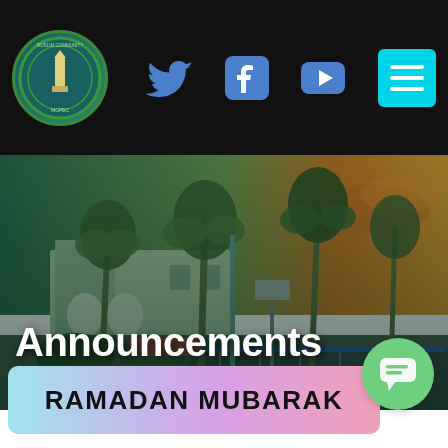Muslim Community of Palm Beach County — Navigation header with logo, Twitter, Facebook, YouTube social icons and menu button
[Figure (photo): Exterior photo of a mosque/community center building with palm trees, parking lot, and sunset sky in background, with 'Announcements' overlaid in white bold text]
Announcements
[Figure (illustration): Green circle chat bubble icon]
RAMADAN MUBARAK